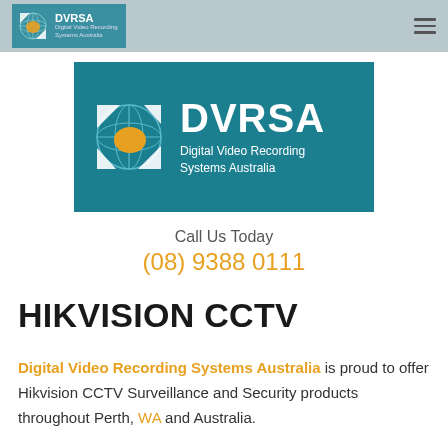DVRSA Digital Video Recording Systems Australia
[Figure (logo): DVRSA logo — teal background with globe/Australia icon and text 'DVRSA Digital Video Recording Systems Australia']
Call Us Today
(08) 9388 0111
HIKVISION CCTV
Digital Video Recording Systems Australia is proud to offer Hikvision CCTV Surveillance and Security products throughout Perth, WA and Australia.